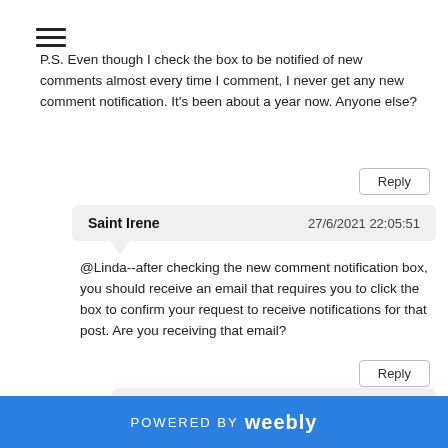[Figure (other): Hamburger menu icon with three horizontal lines]
P.S. Even though I check the box to be notified of new comments almost every time I comment, I never get any new comment notification. It's been about a year now. Anyone else?
Reply
Saint Irene   27/6/2021 22:05:51
@Linda--after checking the new comment notification box, you should receive an email that requires you to click the box to confirm your request to receive notifications for that post. Are you receiving that email?
Reply
Linda   28/6/2021 00:05:24
@Saint Irene, thanks -- no, I don't get those
POWERED BY weebly